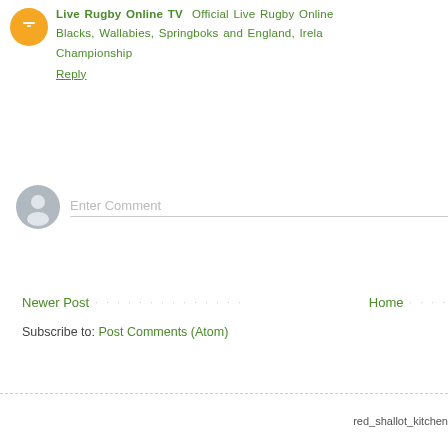Live Rugby Online TV  Official Live Rugby Online  Blacks, Wallabies, Springboks and England, Irela  Championship
Reply
Enter Comment
Newer Post · · · · · · · · · · · · · · Home · · · ·
Subscribe to: Post Comments (Atom)
red_shallot_kitchen